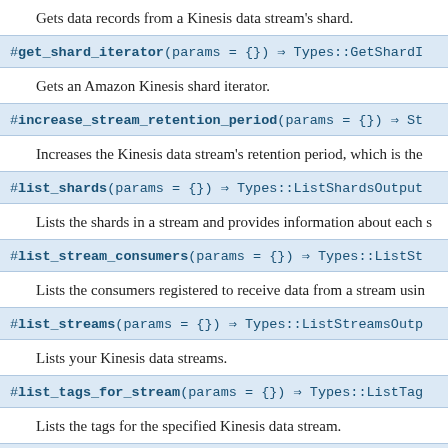Gets data records from a Kinesis data stream's shard.
#get_shard_iterator(params = {}) ⇒ Types::GetShardI
Gets an Amazon Kinesis shard iterator.
#increase_stream_retention_period(params = {}) ⇒ St
Increases the Kinesis data stream's retention period, which is the
#list_shards(params = {}) ⇒ Types::ListShardsOutput
Lists the shards in a stream and provides information about each s
#list_stream_consumers(params = {}) ⇒ Types::ListSt
Lists the consumers registered to receive data from a stream usin
#list_streams(params = {}) ⇒ Types::ListStreamsOutp
Lists your Kinesis data streams.
#list_tags_for_stream(params = {}) ⇒ Types::ListTag
Lists the tags for the specified Kinesis data stream.
#merge_shards(params = {}) ⇒ Struct
Merges two adjacent shards in a Kinesis data stream and combine